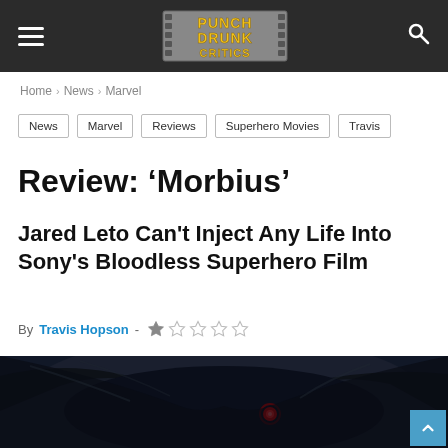Punch Drunk Critics
Home > News > Marvel
News
Marvel
Reviews
Superhero Movies
Travis
Review: ‘Morbius’
Jared Leto Can't Inject Any Life Into Sony's Bloodless Superhero Film
By Travis Hopson - ★ ☆ ☆ ☆ ☆
[Figure (photo): Dark close-up image of Morbius character with red glowing eye, from the Sony superhero film]